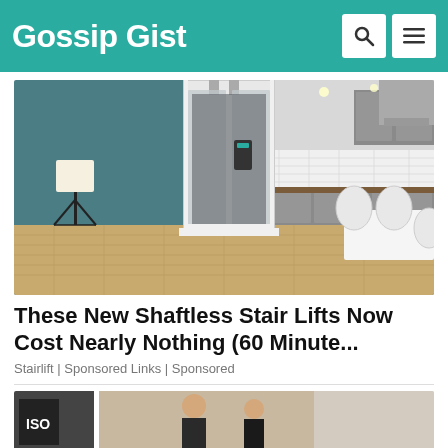Gossip Gist
[Figure (photo): Home elevator / shaftless stair lift installed in a modern kitchen with teal walls, light wood flooring, grey cabinets, and white dining furniture]
These New Shaftless Stair Lifts Now Cost Nearly Nothing (60 Minute...
Stairlift | Sponsored Links | Sponsored
[Figure (photo): Partial view of a second article image showing people at an event]